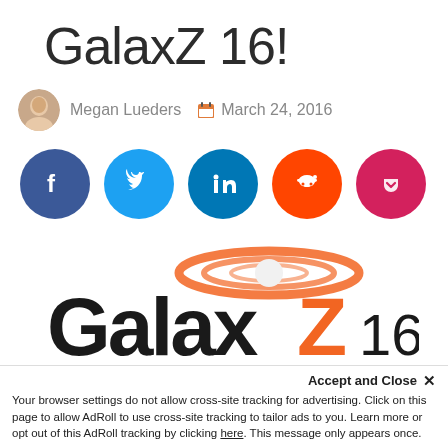GalaxZ 16!
Megan Lueders   March 24, 2016
[Figure (infographic): Social media share buttons: Facebook, Twitter, LinkedIn, Reddit, Pocket]
[Figure (logo): GalaxZ 16 Zenoss User Conference logo with orange swirl and bold stylized text]
Accept and Close ×
Your browser settings do not allow cross-site tracking for advertising. Click on this page to allow AdRoll to use cross-site tracking to tailor ads to you. Learn more or opt out of this AdRoll tracking by clicking here. This message only appears once.